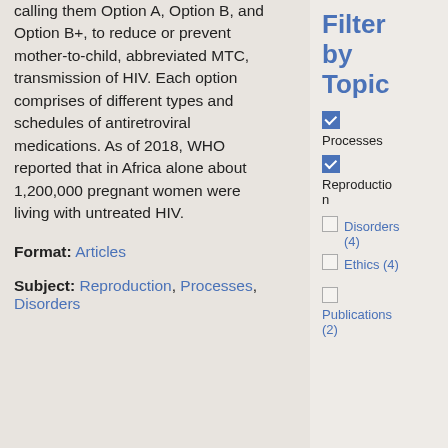calling them Option A, Option B, and Option B+, to reduce or prevent mother-to-child, abbreviated MTC, transmission of HIV. Each option comprises of different types and schedules of antiretroviral medications. As of 2018, WHO reported that in Africa alone about 1,200,000 pregnant women were living with untreated HIV.
Format: Articles
Subject: Reproduction, Processes, Disorders
Filter by Topic
[checked] Processes
[checked] Reproduction
[unchecked] Disorders (4)
[unchecked] Ethics (4)
[unchecked] Publications (2)